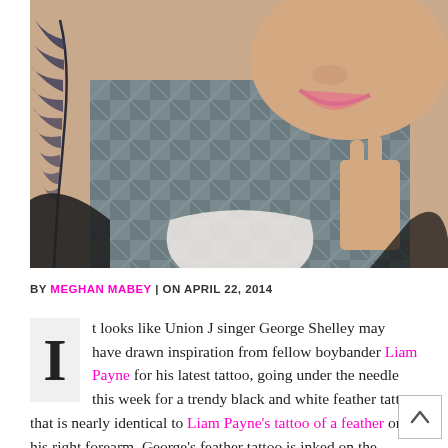[Figure (photo): Close-up selfie of a young man smiling, showing a feather tattoo on his upper arm/shoulder, wearing a plaid/flannel shirt, making a peace sign with his hand.]
BY MEGHAN MABEY | ON APRIL 22, 2014
It looks like Union J singer George Shelley may have drawn inspiration from fellow boybander Liam Payne for his latest tattoo, going under the needle this week for a trendy black and white feather tattoo that is nearly identical to Liam Payne's tattoo of a feather on his right forearm. George's feather tattoo is inked on the outside of his right wrist, and the